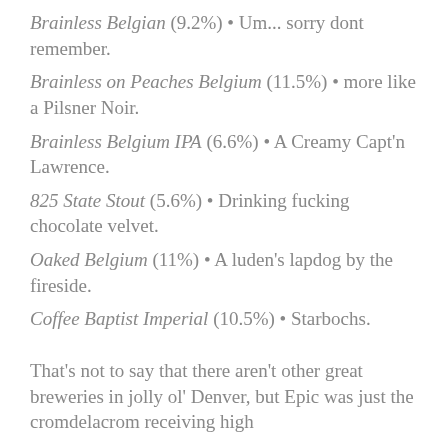Brainless Belgian (9.2%) • Um... sorry dont remember.
Brainless on Peaches Belgium (11.5%) • more like a Pilsner Noir.
Brainless Belgium IPA (6.6%) • A Creamy Capt'n Lawrence.
825 State Stout (5.6%) • Drinking fucking chocolate velvet.
Oaked Belgium (11%) • A luden's lapdog by the fireside.
Coffee Baptist Imperial (10.5%) • Starbochs.
That's not to say that there aren't other great breweries in jolly ol' Denver, but Epic was just the cromdelacrom receiving high